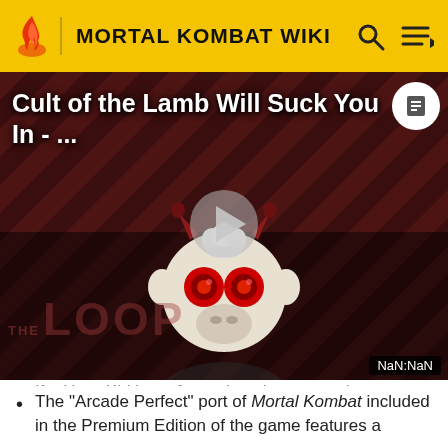MORTAL KOMBAT WIKI
[Figure (screenshot): Video thumbnail for 'Cult of the Lamb Will Suck You In' with a play button in the center, showing a cartoon character with horns and red eyes on a dark diagonal-striped background. 'THE LOOP' watermark visible. Time display shows NaN:NaN.]
If a Hara-Kiri is performed on the wrong character, and the right character is ahead, after you hear "Finish Her/Him!", the character proceeds to kill themselves without input.
The "Arcade Perfect" port of Mortal Kombat included in the Premium Edition of the game features a